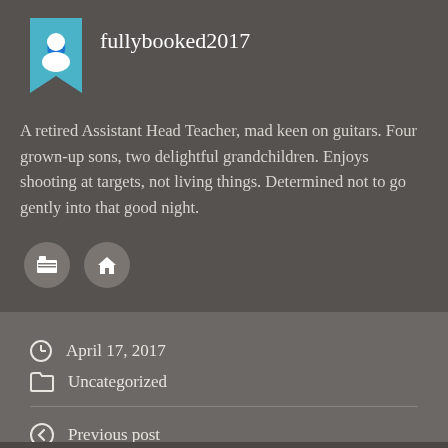fullybooked2017
A retired Assistant Head Teacher, mad keen on guitars. Four grown-up sons, two delightful grandchildren. Enjoys shooting at targets, not living things. Determined not to go gently into that good night.
April 17, 2017
Uncategorized
Previous post
Next post